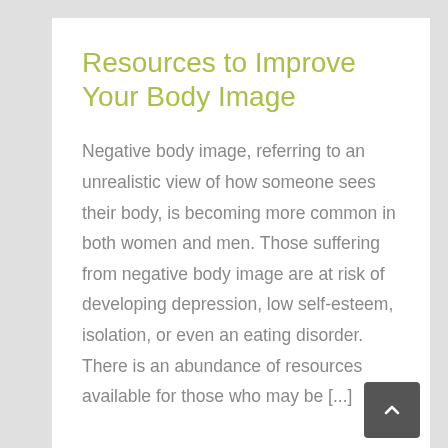Resources to Improve Your Body Image
Negative body image, referring to an unrealistic view of how someone sees their body, is becoming more common in both women and men. Those suffering from negative body image are at risk of developing depression, low self-esteem, isolation, or even an eating disorder. There is an abundance of resources available for those who may be [...]